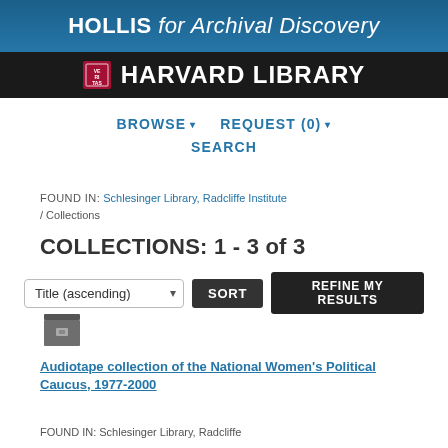HOLLIS for Archival Discovery
[Figure (logo): Harvard Library logo with shield and text on black background]
BROWSE ▾   REQUEST (0) ▾   SEARCH
FOUND IN: Schlesinger Library, Radcliffe Institute / Collections
COLLECTIONS: 1 - 3 of 3
Title (ascending) SORT  REFINE MY RESULTS
[Figure (other): Archive box icon]
Audiotape collection of the National Women's Political Caucus, 1977-2000
FOUND IN: Schlesinger Library, Radcliffe